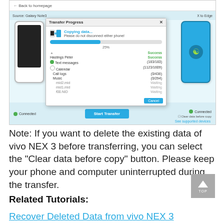[Figure (screenshot): Screenshot of a phone transfer application showing a 'Transfer Progress' dialog with 'Copying data... Please do not disconnect either phone!' message, a progress bar at 25%, and a list of items being transferred including Hastings Peter (Success), Text messages (183/183), Calendar (1123/1609), Call logs (0/436), Music (0/294), and files like mid2.mid, mid1.mid, f00.NID showing as Waiting. A Cancel button is shown. At the bottom, both phones show 'Connected' status, a 'Start Transfer' button, and 'Clear data before copy' checkbox.]
Note: If you want to delete the existing data of vivo NEX 3 before transferring, you can select the "Clear data before copy" button. Please keep your phone and computer uninterrupted during the transfer.
Related Tutorials:
Recover Deleted Data from vivo NEX 3